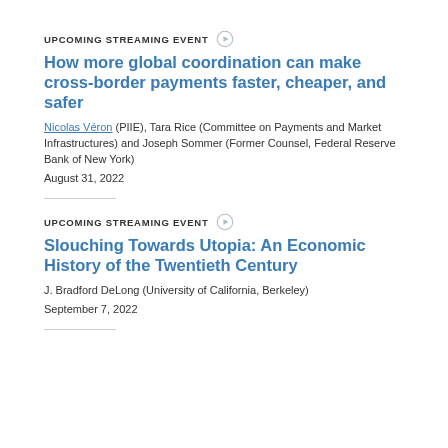UPCOMING STREAMING EVENT
How more global coordination can make cross-border payments faster, cheaper, and safer
Nicolas Véron (PIIE), Tara Rice (Committee on Payments and Market Infrastructures) and Joseph Sommer (Former Counsel, Federal Reserve Bank of New York)
August 31, 2022
UPCOMING STREAMING EVENT
Slouching Towards Utopia: An Economic History of the Twentieth Century
J. Bradford DeLong (University of California, Berkeley)
September 7, 2022